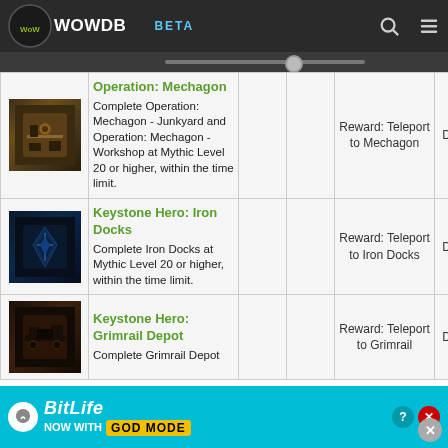WOWDB BETA
| Icon | Achievement |  |  | Reward | Type |
| --- | --- | --- | --- | --- | --- |
| [icon] | Operation: Mechagon
Complete Operation: Mechagon - Junkyard and Operation: Mechagon - Workshop at Mythic Level 20 or higher, within the time limit. |  |  | Reward: Teleport to Mechagon | Dungeon |
| [icon] | Keystone Hero: Iron Docks
Complete Iron Docks at Mythic Level 20 or higher, within the time limit. |  |  | Reward: Teleport to Iron Docks | Dungeon |
| [icon] | Keystone Hero: Grimrail Depot
Complete Grimrail Depot... |  |  | Reward: Teleport to Grimrail | Dungeon |
[Figure (screenshot): BitLife ad banner at bottom: 'NOW WITH GOD MODE']